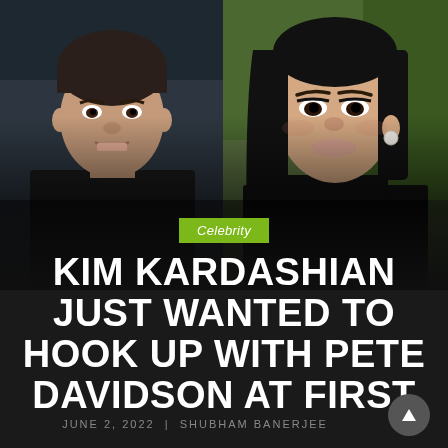[Figure (photo): Split photo showing Pete Davidson on the left (young man with short dark hair, slight smile, dark jacket) and Kim Kardashian on the right (dark hair, black turtleneck, glamorous makeup, pearl earring), with dark overlay at bottom]
Celebrity
KIM KARDASHIAN JUST WANTED TO HOOK UP WITH PETE DAVIDSON AT FIRST
JUNE 2, 2022 | SHUBHAM BANERJEE